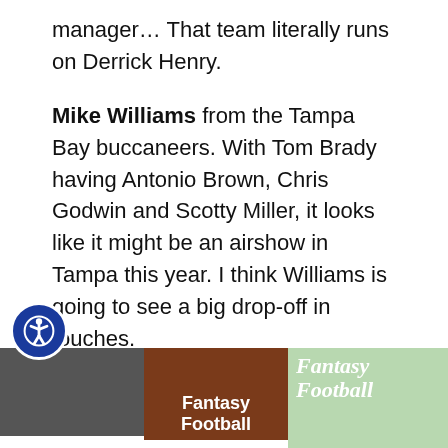manager… That team literally runs on Derrick Henry.
Mike Williams from the Tampa Bay buccaneers. With Tom Brady having Antonio Brown, Chris Godwin and Scotty Miller, it looks like it might be an airshow in Tampa this year. I think Williams is going to see a big drop-off in touches.
Make sure you check out all of our other fantasy football articles and tips!
Related Posts
[Figure (photo): Three thumbnail images for related posts: a person photo, a 'Fantasy Football' article thumbnail, and a 'Fantasy Football' stylized text image]